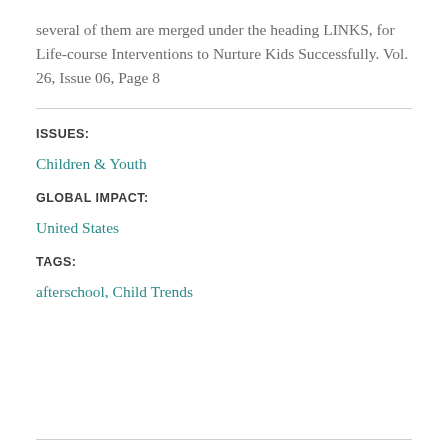several of them are merged under the heading LINKS, for Life-course Interventions to Nurture Kids Successfully. Vol. 26, Issue 06, Page 8
ISSUES:
Children & Youth
GLOBAL IMPACT:
United States
TAGS:
afterschool, Child Trends